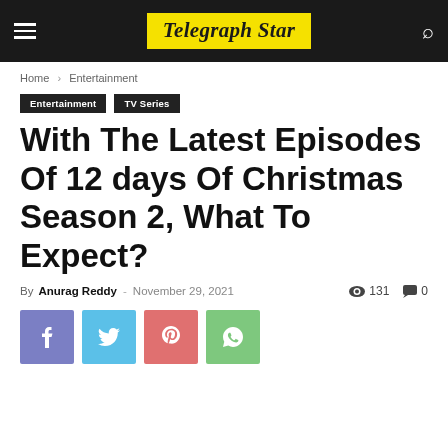Telegraph Star
Home › Entertainment
Entertainment   TV Series
With The Latest Episodes Of 12 days Of Christmas Season 2, What To Expect?
By Anurag Reddy - November 29, 2021   131   0
[Figure (infographic): Social share buttons: Facebook, Twitter, Pinterest, WhatsApp]